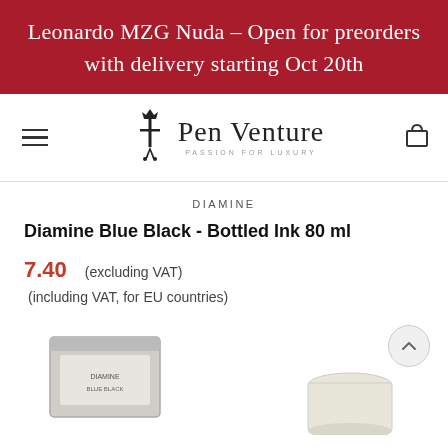Leonardo MZG Nuda – Open for preorders with delivery starting Oct 20th
[Figure (logo): PenVenture logo with decorative pen nib icon and text 'Pen Venture PASSION FOR LUXURY']
DIAMINE
Diamine Blue Black - Bottled Ink 80 ml
7.40   (excluding VAT)
(including VAT, for EU countries)
[Figure (photo): Two ink bottles/boxes partially visible at the bottom of the page; one appears to be a rectangular box on the left and a small round container on the right]